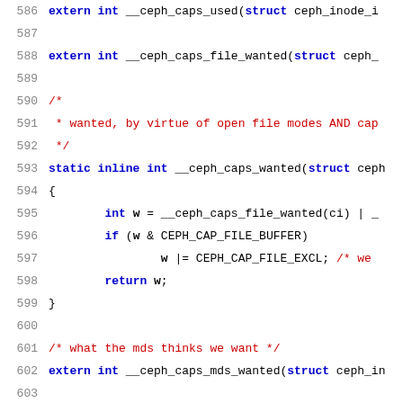[Figure (screenshot): Source code listing showing lines 586-607 of a C header file related to ceph capabilities (caps) functions. Line numbers are shown in grey on the left, code in blue/black/red on the right using monospace font.]